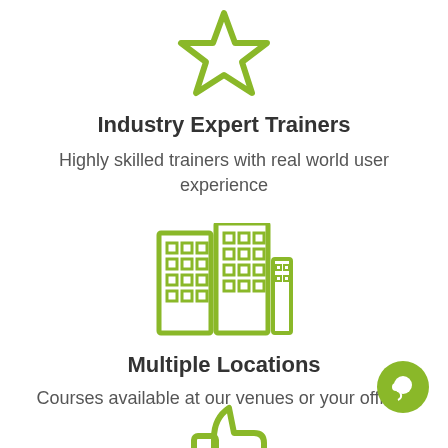[Figure (illustration): Green outline star icon at top of page]
Industry Expert Trainers
Highly skilled trainers with real world user experience
[Figure (illustration): Green outline buildings/city skyline icon]
Multiple Locations
Courses available at our venues or your offices
[Figure (illustration): Green outline thumbs up icon partially visible at bottom]
[Figure (illustration): Green filled circle chat bubble icon at bottom right corner]